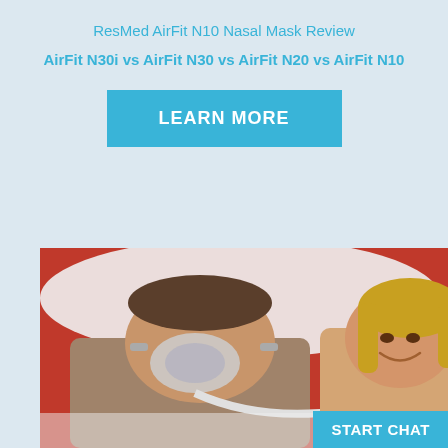ResMed AirFit N10 Nasal Mask Review
AirFit N30i vs AirFit N30 vs AirFit N20 vs AirFit N10
LEARN MORE
[Figure (photo): A man lying in bed wearing a ResMed CPAP nasal mask, with a woman lying beside him smiling]
START CHAT